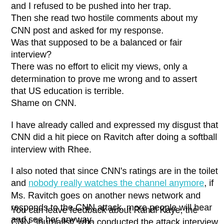and I refused to be pushed into her trap.
Then she read two hostile comments about my CNN post and asked for my response.
Was that supposed to be a balanced or fair interview?
There was no effort to elicit my views, only a determination to prove me wrong and to assert that US education is terrible.
Shame on CNN.
I have already called and expressed my disgust that CNN did a hit piece on Ravitch after doing a softball interview with Rhee.
I also noted that since CNN's ratings are in the toilet and nobody really watches the channel anymore, if Ms. Ravitch goes on another news network and responds to the CNN attack, more people will hear and see her anyway.
You can leave feedback about Randi Kaye, the CNN "journalist" who conducted the attack interview here: